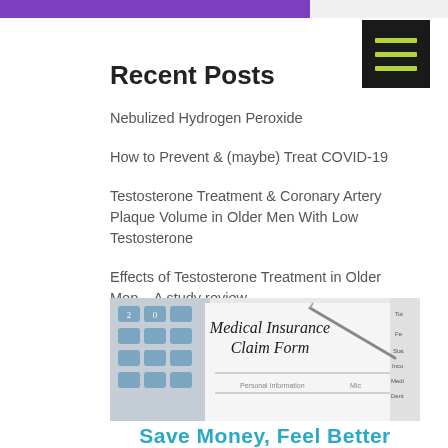[Figure (photo): Partial top bar showing purple/violet website header image]
[Figure (other): Black hamburger menu icon with three green horizontal lines]
Recent Posts
Nebulized Hydrogen Peroxide
How to Prevent & (maybe) Treat COVID-19
Testosterone Treatment & Coronary Artery Plaque Volume in Older Men With Low Testosterone
Effects of Testosterone Treatment in Older Men – A study review
Testosterone & Coronary Artery Disease – study review
[Figure (photo): Photo of a Medical Insurance Claim Form with a calculator and glasses]
Save Money, Feel Better